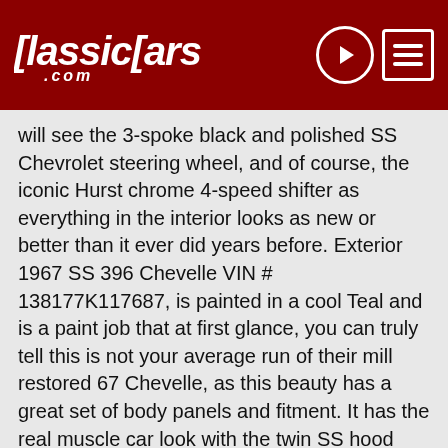ClassicCars.com
will see the 3-spoke black and polished SS Chevrolet steering wheel, and of course, the iconic Hurst chrome 4-speed shifter as everything in the interior looks as new or better than it ever did years before. Exterior 1967 SS 396 Chevelle VIN # 138177K117687, is painted in a cool Teal and is a paint job that at first glance, you can truly tell this is not your average run of their mill restored 67 Chevelle, as this beauty has a great set of body panels and fitment. It has the real muscle car look with the twin SS hood that has the chrome power bulges, factory SS badging, nice front and rear bumpers, trim, and glass, with throaty sounds emanating from the built motor out the exhaust tips verifying that this is one quick Chevelle SS. Conclusion You don't see many real restored 1967 big block SS Chevelle's that is as wicked as this one with